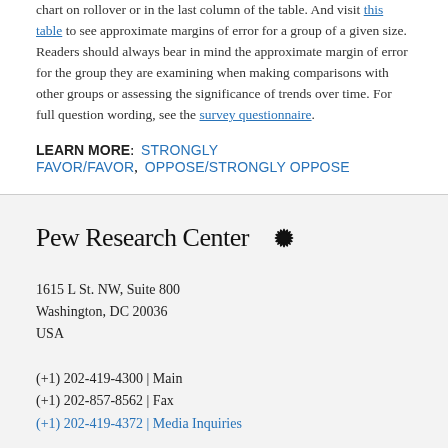chart on rollover or in the last column of the table. And visit this table to see approximate margins of error for a group of a given size. Readers should always bear in mind the approximate margin of error for the group they are examining when making comparisons with other groups or assessing the significance of trends over time. For full question wording, see the survey questionnaire.
LEARN MORE: STRONGLY FAVOR/FAVOR, OPPOSE/STRONGLY OPPOSE
Pew Research Center
1615 L St. NW, Suite 800
Washington, DC 20036
USA
(+1) 202-419-4300 | Main
(+1) 202-857-8562 | Fax
(+1) 202-419-4372 | Media Inquiries
RESEARCH TOPICS
Politics & Policy    Family & Relationships